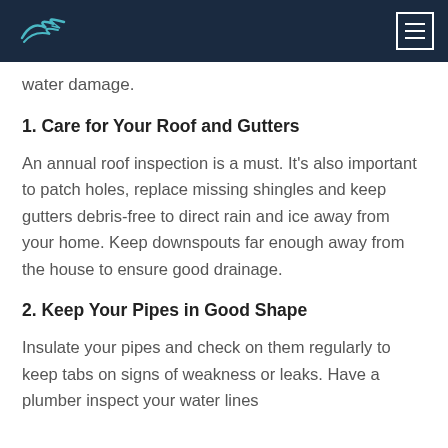[Logo] [Menu button]
water damage.
1. Care for Your Roof and Gutters
An annual roof inspection is a must. It's also important to patch holes, replace missing shingles and keep gutters debris-free to direct rain and ice away from your home. Keep downspouts far enough away from the house to ensure good drainage.
2. Keep Your Pipes in Good Shape
Insulate your pipes and check on them regularly to keep tabs on signs of weakness or leaks. Have a plumber inspect your water lines